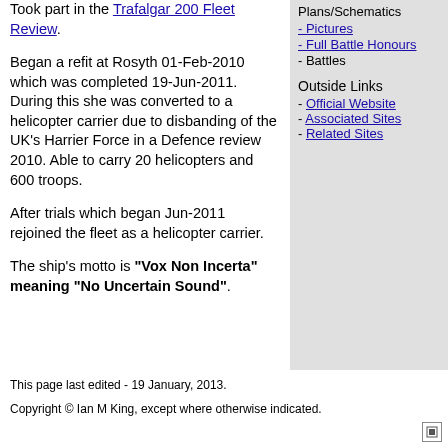Took part in the Trafalgar 200 Fleet Review.
Began a refit at Rosyth 01-Feb-2010 which was completed 19-Jun-2011. During this she was converted to a helicopter carrier due to disbanding of the UK's Harrier Force in a Defence review 2010. Able to carry 20 helicopters and 600 troops.
After trials which began Jun-2011 rejoined the fleet as a helicopter carrier.
The ship's motto is "Vox Non Incerta" meaning "No Uncertain Sound".
Plans/Schematics
- Pictures
- Full Battle Honours
- Battles
Outside Links
- Official Website
- Associated Sites
- Related Sites
This page last edited - 19 January, 2013.
Copyright © Ian M King, except where otherwise indicated.